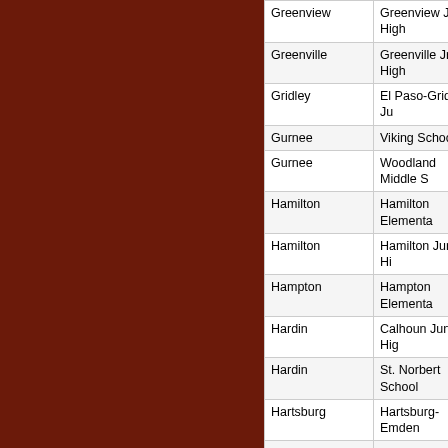| City | School |
| --- | --- |
| Greenview | Greenview Jr. High |
| Greenville | Greenville Jr. High |
| Gridley | El Paso-Gridley Ju |
| Gurnee | Viking School |
| Gurnee | Woodland Middle S |
| Hamilton | Hamilton Elementa |
| Hamilton | Hamilton Junior Hi |
| Hampton | Hampton Elementa |
| Hardin | Calhoun Junior Hig |
| Hardin | St. Norbert School |
| Hartsburg | Hartsburg-Emden |
| Harvard | Harvard Junior Hig |
| Harvey | Gwendolyn Brooks |
| Harwood Heights | Union Ridge Scho |
| Havana | Havana Junior Hig |
| Hawthorn Woods | Lake Zurich MS N |
| Hazel Crest | Jesse C. White Le |
| Henry | Henry-Senachwine School |
| Herrick | Mid-America Prepa |
| Heyworth | Heyworth Element |
| Heyworth | Heyworth Junior H |